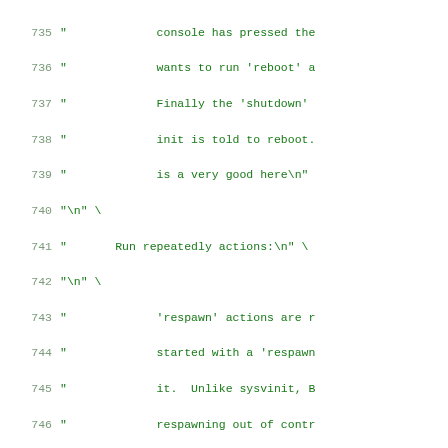Source code listing lines 735-755, showing string literals in green monospace font. Lines contain code strings with comments about console reboot, respawn actions, and unrecognized actions.